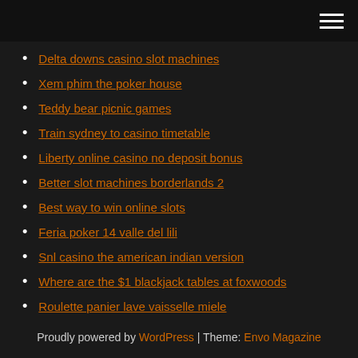Navigation menu header bar
Delta downs casino slot machines
Xem phim the poker house
Teddy bear picnic games
Train sydney to casino timetable
Liberty online casino no deposit bonus
Better slot machines borderlands 2
Best way to win online slots
Feria poker 14 valle del lili
Snl casino the american indian version
Where are the $1 blackjack tables at foxwoods
Roulette panier lave vaisselle miele
Proudly powered by WordPress | Theme: Envo Magazine